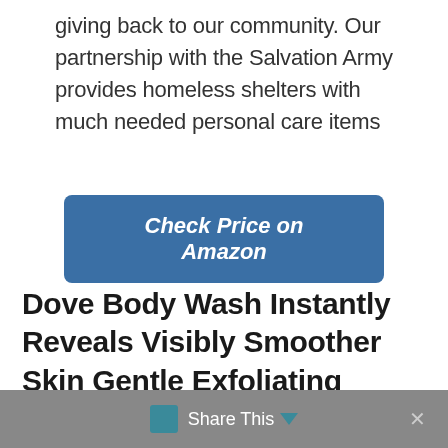giving back to our community. Our partnership with the Salvation Army provides homeless shelters with much needed personal care items
[Figure (other): Blue rounded rectangle button with text 'Check Price on Amazon' in bold italic white font]
Dove Body Wash Instantly Reveals Visibly Smoother Skin Gentle Exfoliating Effectively Washes Away Bacteria While Nourishing Your Skin, 22 oz, 2 Count
Share This